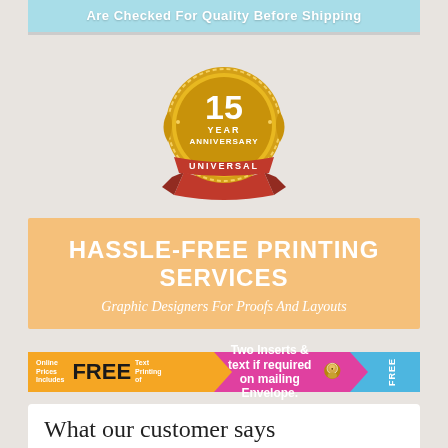Are Checked For Quality Before Shipping
[Figure (logo): 15 Year Anniversary Universal gold badge/seal]
HASSLE-FREE PRINTING SERVICES
Graphic Designers For Proofs And Layouts
[Figure (infographic): Orange arrow banner: Online Prices Includes FREE Text Printing of | Two Inserts & text if required on mailing Envelope. FREE]
What our customer says
Rajesh and his team are amazing, responsive, and quick! We couldn't be happier with our the invitations and...